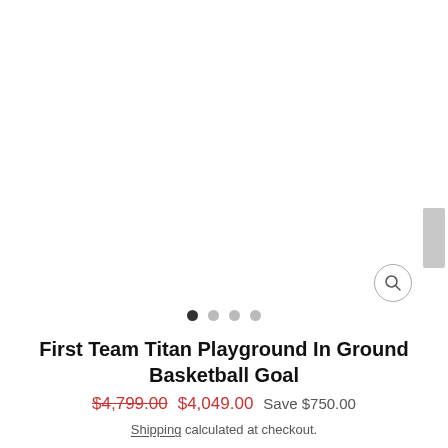[Figure (photo): Product image area showing a basketball goal (mostly white/blank area), with a zoom/search icon button in the lower right and a thumbnail strip on the far right edge]
[Figure (other): Carousel navigation dots: four dots in a row, first dot filled/dark (active), remaining three dots light grey]
First Team Titan Playground In Ground Basketball Goal
$4,799.00  $4,049.00  Save $750.00
Shipping calculated at checkout.